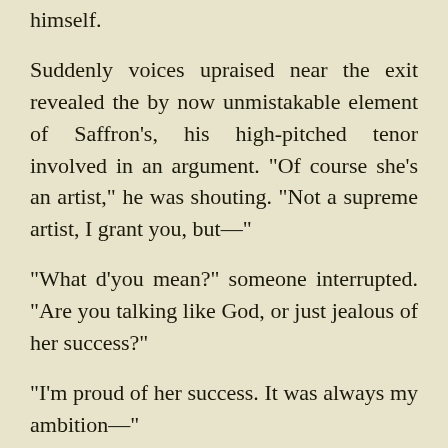himself.
Suddenly voices upraised near the exit revealed the by now unmistakable element of Saffron's, his high-pitched tenor involved in an argument. "Of course she's an artist," he was shouting. "Not a supreme artist, I grant you, but—"
"What d'you mean?" someone interrupted. "Are you talking like God, or just jealous of her success?"
"I'm proud of her success. It was always my ambition—"
"So you take all the credit?"
George was near enough now to